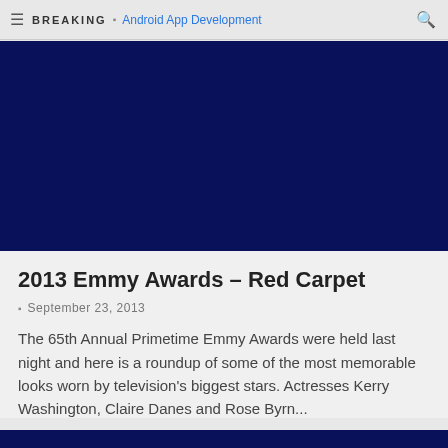BREAKING  Android App Development
[Figure (photo): Dark navy blue image block, top of article]
2013 Emmy Awards – Red Carpet
September 23, 2013
The 65th Annual Primetime Emmy Awards were held last night and here is a roundup of some of the most memorable looks worn by television's biggest stars. Actresses Kerry Washington, Claire Danes and Rose Byrn...
[Figure (photo): Dark navy blue image block, bottom partial view]